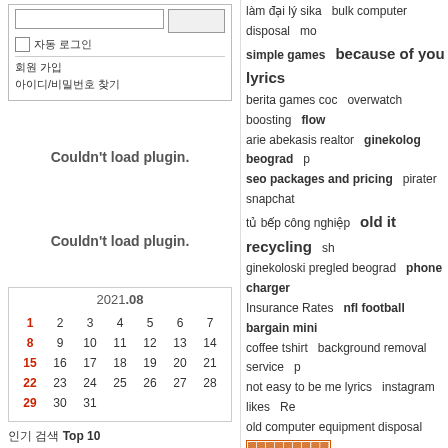[Figure (screenshot): Left column with a web form containing input fields, a checkbox, divider, links, two plugin error messages, a calendar for 2021.08, and a Top 10 label.]
làm đại lý sika  bulk computer disposal  simple games  because of you lyrics  berita games coc  overwatch boosting  flow  arie abekasis realtor  ginekolog beograd  p  seo packages and pricing  pirater snapchat  tủ bếp công nghiệp  old it recycling  sh  ginekoloski pregled beograd  phone charger  Insurance Rates  nfl football  bargain mini  coffee tshirt  background removal service  p  not easy to be me lyrics  instagram likes  Re  old computer equipment disposal  [orange boxes]  fat burning vegetarian foods  filipino online j  trading bots  custom nba jerseys wholesale  undead slayer guide  online technical suppo  http://boost-my-game.com/undead-slayer-ch  mike eckerman  soi cầu xổ số miền bắc  ha  Technical Support  cheap jersey 01  ti  medical services of america locations  Buy In  Car Quotes  free insurance quotes  Mumbai  learn more  property investment new  ho  download undead slayer cheat  mini skirt  ringside boxing  forex news  ultimate testo e  how do you report a scammer  wywóz odpad  nike products  Concentrates  eagle medic